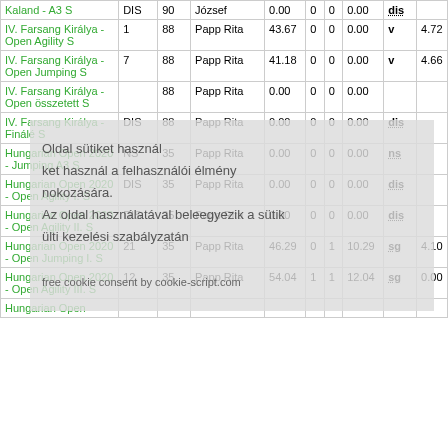| Event | Place | SCT | Handler | Time | F | R | Pts | Q | Speed |
| --- | --- | --- | --- | --- | --- | --- | --- | --- | --- |
| Kaland - A3 S | DIS | 90 | József | 0.00 | 0 | 0 | 0.00 | dis |  |
| IV. Farsang Királya - Open Agility S | 1 | 88 | Papp Rita | 43.67 | 0 | 0 | 0.00 | v | 4.72 |
| IV. Farsang Királya - Open Jumping S | 7 | 88 | Papp Rita | 41.18 | 0 | 0 | 0.00 | v | 4.66 |
| IV. Farsang Királya - Open összetett S |  | 88 | Papp Rita | 0.00 | 0 | 0 | 0.00 |  |  |
| IV. Farsang Királya - Finálé S | DIS | 88 | Papp Rita | 0.00 | 0 | 0 | 0.00 | dis |  |
| Hungarian Open 2020 - Jumping A3 S | NS | 35 | Papp Rita | 0.00 | 0 | 0 | 0.00 | ns |  |
| Hungarian Open 2020 - Open Agility I. S | DIS | 35 | Papp Rita | 0.00 | 0 | 0 | 0.00 | dis |  |
| Hungarian Open 2020 - Open Agility II. S | DIS | 35 | Papp Rita | 0.00 | 0 | 0 | 0.00 | dis |  |
| Hungarian Open 2020 - Open Jumping I. S | 21 | 35 | Papp Rita | 46.29 | 0 | 1 | 10.29 | sg | 4.10 |
| Hungarian Open 2020 - Open Agility III. S | 12 | 35 | Papp Rita | 54.04 | 1 | 1 | 12.04 | sg | 0.00 |
| Hungarian Open |  |  |  |  |  |  |  |  |  |